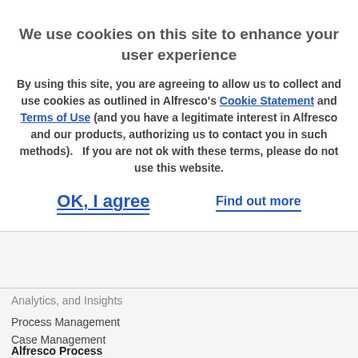We use cookies on this site to enhance your user experience
By using this site, you are agreeing to allow us to collect and use cookies as outlined in Alfresco's Cookie Statement and Terms of Use (and you have a legitimate interest in Alfresco and our products, authorizing us to contact you in such methods).   If you are not ok with these terms, please do not use this website.
OK, I agree
Find out more
Analytics, and Insights
Process Management
Case Management
Alfresco Process Services (BPM)